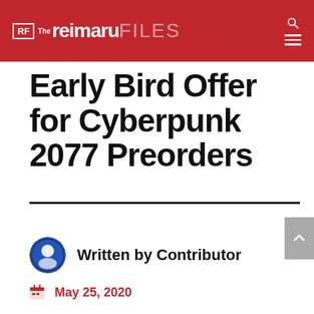The Reimaru Files
Early Bird Offer for Cyberpunk 2077 Preorders
0 Comments
Written by Contributor
May 25, 2020